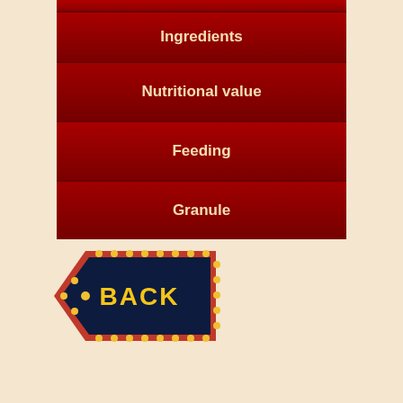Ingredients
Nutritional value
Feeding
Granule
[Figure (illustration): A decorative BACK button shaped like a pentagon/arrow pointing left, dark navy background with red border and yellow dot lights around the border, 'BACK' text in bold yellow]